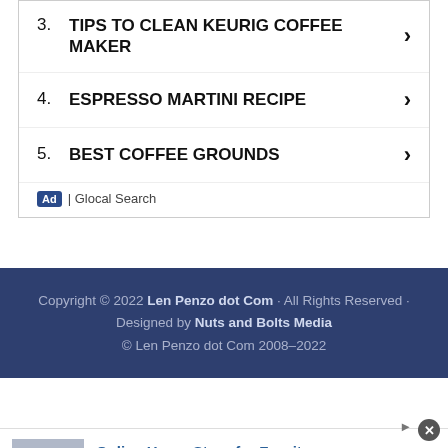3. TIPS TO CLEAN KEURIG COFFEE MAKER
4. ESPRESSO MARTINI RECIPE
5. BEST COFFEE GROUNDS
Ad | Glocal Search
Copyright © 2022 Len Penzo dot Com · All Rights Reserved · Designed by Nuts and Bolts Media © Len Penzo dot Com 2008–2022
[Figure (infographic): Wayfair advertisement banner: Online Home Store for Furniture. Shop Wayfair for A Zillion Things Home across all styles. www.wayfair.com. Shows appliance imagery on the left and a blue circular arrow button on the right.]